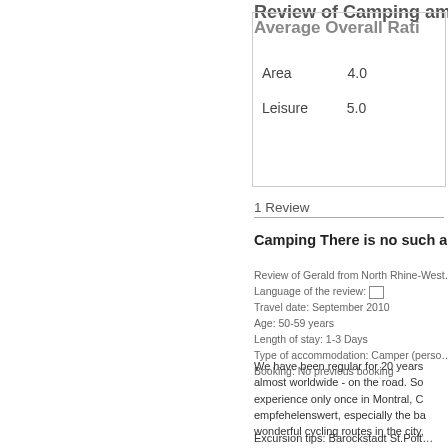Review of Camping am See
Average Overall Rati…
Area  4.0
Leisure  5.0
1 Review
Camping There is no such a…
Review of Gerald from North Rhine-West…
Language of the review: []
Travel date: September 2010
Age: 50-59 years
Length of stay: 1-3 Days
Type of accommodation: Camper (perso…
Booking: No previous booking
We have been regular for 20 years almost worldwide - on the road. So experience only once in Montral, C empfehelenswert, especially the ba wonderful cycling routes in the city,
Excursion tips: Barockstadt St.Pölt…